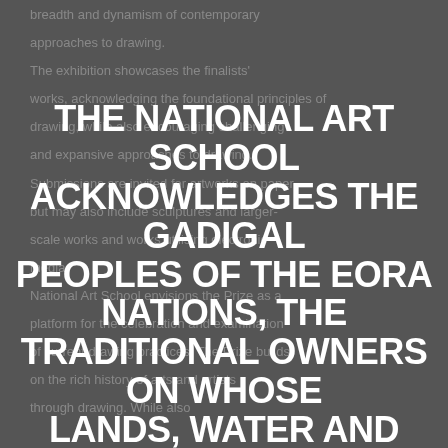breadth and dynamism of contemporary approaches to drawing. The exhibition showcases the finalists' works, acknowledging the foundational principles of drawing, while also encouraging challenging and expansive approaches to drawing. Submissions are invited for artworks on paper, but may also include sculptures and larger-scale works and works utilising electronic media. National Art School envisions the Prize as a platform for the celebration and examination of current drawing practices. The Prize builds on the rich history of arts and artists through drawing. While also...
THE NATIONAL ART SCHOOL ACKNOWLEDGES THE GADIGAL PEOPLES OF THE EORA NATIONS, THE TRADITIONAL OWNERS ON WHOSE LANDS, WATER AND SKIES WE MEET AND SHARE. WE PAY OUR RESPECTS TO ALL GADIGAL ELDERS, PAST AND PRESENT, AND CELEBRATE THE DIVERSITY, HISTORY AND CREATIVITY OF ABORIGINAL AND TORRES STRAIT